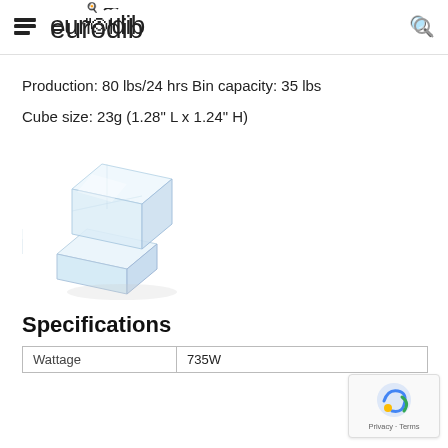eurodib
Production: 80 lbs/24 hrs Bin capacity: 35 lbs
Cube size: 23g (1.28" L x 1.24" H)
[Figure (photo): Clear ice cube, two cubes stacked, transparent with slight shadow on white background]
Specifications
| Wattage | 735W |